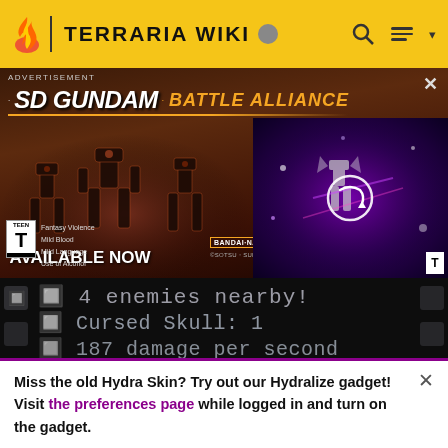TERRARIA WIKI
[Figure (screenshot): SD Gundam Battle Alliance advertisement banner with game artwork showing mecha robots, ESRB Teen rating, and a video panel with play button on purple background]
[Figure (screenshot): Terraria game screenshot showing dark background with text: 4 enemies nearby!, Cursed Skull: 1, 187 damage per second]
Cell Phone
Terraria Wiki
Miss the old Hydra Skin? Try out our Hydralize gadget! Visit the preferences page while logged in and turn on the gadget.